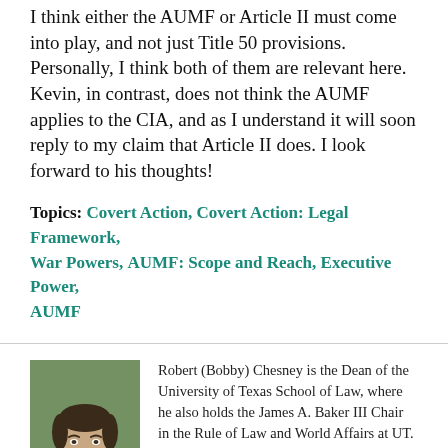I think either the AUMF or Article II must come into play, and not just Title 50 provisions. Personally, I think both of them are relevant here. Kevin, in contrast, does not think the AUMF applies to the CIA, and as I understand it will soon reply to my claim that Article II does. I look forward to his thoughts!
Topics: Covert Action, Covert Action: Legal Framework, War Powers, AUMF: Scope and Reach, Executive Power, AUMF
[Figure (photo): Headshot photo of Robert (Bobby) Chesney, a man in a dark suit jacket with short dark hair, smiling, with a blurred green outdoor background.]
Robert (Bobby) Chesney is the Dean of the University of Texas School of Law, where he also holds the James A. Baker III Chair in the Rule of Law and World Affairs at UT. He is known internationally for his scholarship relating both to cybersecurity and national security. He is a co-founder of Lawfare, the nation's leading online source for analysis of